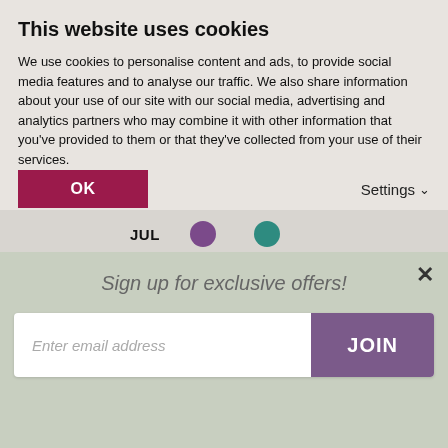This website uses cookies
We use cookies to personalise content and ads, to provide social media features and to analyse our traffic. We also share information about your use of our site with our social media, advertising and analytics partners who may combine it with other information that you've provided to them or that they've collected from your use of their services.
OK
Settings
[Figure (infographic): Calendar dot chart showing months JUL, AUG, SEP, OCT, NOV with purple and teal filled circles indicating availability. JUL has both purple and teal dots, AUG has both purple and teal dots, SEP has only a teal dot, OCT and NOV have no dots.]
Sign up for exclusive offers!
Enter email address
JOIN